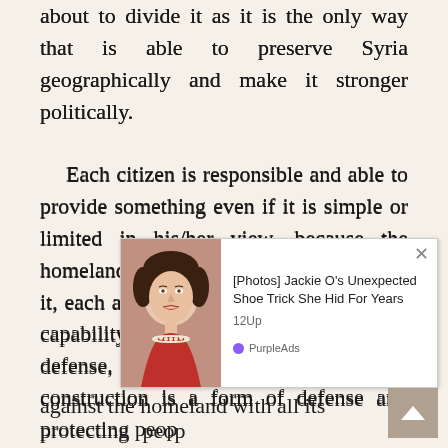about to divide it as it is the only way that is able to preserve Syria geographically and make it stronger politically.

Each citizen is responsible and able to provide something even if it is simple or limited in his/her view, because the homeland is for everyone; we all defend it, each according to his/her capacity and capability, because ideas are forms of defense, stances are forms of defense, construction is a form of defense and protecting people's lives is a form of defense.

Si... against the homeland with all its
[Figure (photo): Advertisement overlay showing a photo of Jackie Kennedy with text '[Photos] Jackie O's Unexpected Shoe Trick She Hid For Years' by 12Up, sponsored by PurpleAds]